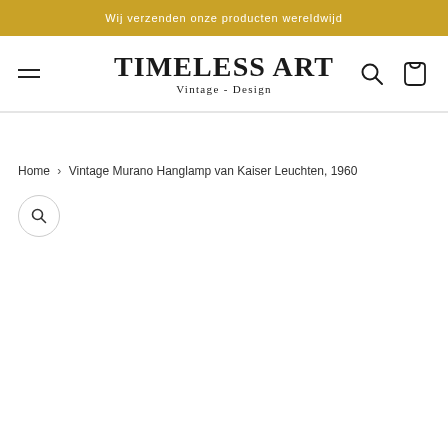Wij verzenden onze producten wereldwijd
[Figure (logo): Timeless Art Vintage - Design logo with hamburger menu, search icon, and cart icon in navigation bar]
Home › Vintage Murano Hanglamp van Kaiser Leuchten, 1960
[Figure (other): Search/zoom magnifier button circle icon]